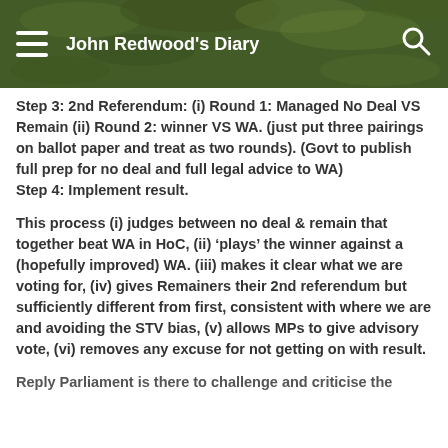John Redwood's Diary
Step 3: 2nd Referendum: (i) Round 1: Managed No Deal VS Remain (ii) Round 2: winner VS WA. (just put three pairings on ballot paper and treat as two rounds). (Govt to publish full prep for no deal and full legal advice to WA)
Step 4: Implement result.
This process (i) judges between no deal & remain that together beat WA in HoC, (ii) ‘plays’ the winner against a (hopefully improved) WA. (iii) makes it clear what we are voting for, (iv) gives Remainers their 2nd referendum but sufficiently different from first, consistent with where we are and avoiding the STV bias, (v) allows MPs to give advisory vote, (vi) removes any excuse for not getting on with result.
Reply Parliament is there to challenge and criticise the